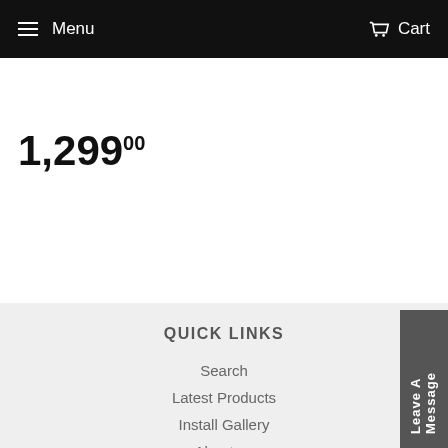Menu  Cart
1,299°00
QUICK LINKS
Search
Latest Products
Install Gallery
About us
Contact Us
Delivery Information
Leave A Message